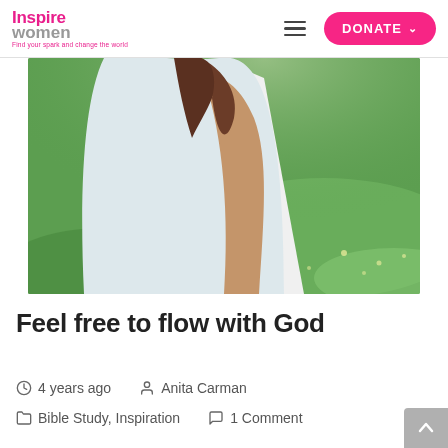Inspire Women — Find your spark and change the world — DONATE
[Figure (photo): A woman in a white t-shirt with a ponytail standing in a green grassy field, photographed from the torso down, backlit with warm sunlight]
Feel free to flow with God
4 years ago   Anita Carman
Bible Study, Inspiration   1 Comment